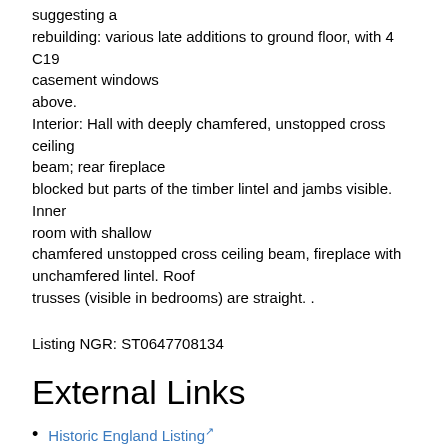suggesting a rebuilding: various late additions to ground floor, with 4 C19 casement windows above. Interior: Hall with deeply chamfered, unstopped cross ceiling beam; rear fireplace blocked but parts of the timber lintel and jambs visible. Inner room with shallow chamfered unstopped cross ceiling beam, fireplace with unchamfered lintel. Roof trusses (visible in bedrooms) are straight. .
Listing NGR: ST0647708134
External Links
Historic England Listing
Wikidata Q26400360